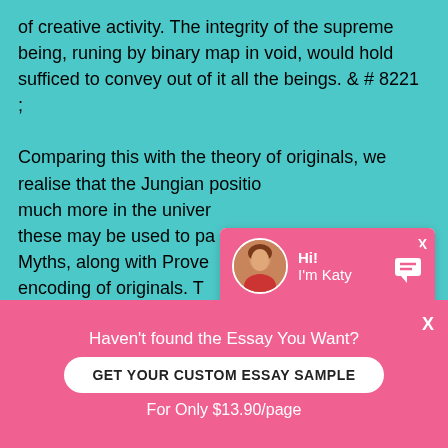of creative activity. The integrity of the supreme being, runing by binary map in void, would hold sufficed to convey out of it all the beings. & # 8221 ;

Comparing this with the theory of originals, we realise that the Jungian position much more in the univer these may be used to pa Myths, along with Prove encoding of originals. T which can be applied to pass oning a shared per
[Figure (other): Chat popup overlay with pink header showing avatar of a woman named Katy, greeting 'Hi! I'm Katy', body text asking 'Would you like to get such a paper? How about receiving a customized one?' with a 'Check it out' link.]
Haven't found the Essay You Want?
GET YOUR CUSTOM ESSAY SAMPLE
For Only $13.90/page